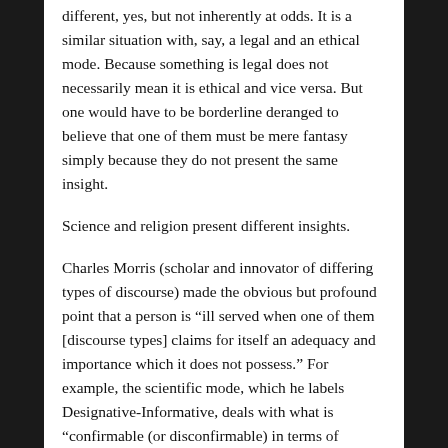different, yes, but not inherently at odds. It is a similar situation with, say, a legal and an ethical mode. Because something is legal does not necessarily mean it is ethical and vice versa. But one would have to be borderline deranged to believe that one of them must be mere fantasy simply because they do not present the same insight.
Science and religion present different insights.
Charles Morris (scholar and innovator of differing types of discourse) made the obvious but profound point that a person is “ill served when one of them [discourse types] claims for itself an adequacy and importance which it does not possess.” For example, the scientific mode, which he labels Designative-Informative, deals with what is “confirmable (or disconfirmable) in terms of empirical evidence.” This mode is vital for the natural sciences, but silent on a host of